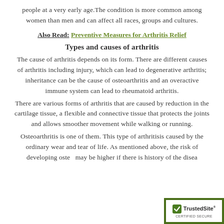people at a very early age.The condition is more common among women than men and can affect all races, groups and cultures.
Also Read: Preventive Measures for Arthritis Relief
Types and causes of arthritis
The cause of arthritis depends on its form. There are different causes of arthritis including injury, which can lead to degenerative arthritis; inheritance can be the cause of osteoarthritis and an overactive immune system can lead to rheumatoid arthritis.
There are various forms of arthritis that are caused by reduction in the cartilage tissue, a flexible and connective tissue that protects the joints and allows smoother movement while walking or running.
Osteoarthritis is one of them. This type of arthritisis caused by the ordinary wear and tear of life. As mentioned above, the risk of developing oste may be higher if there is history of the disea
[Figure (logo): TrustedSite CERTIFIED SECURE badge in bottom-right corner]